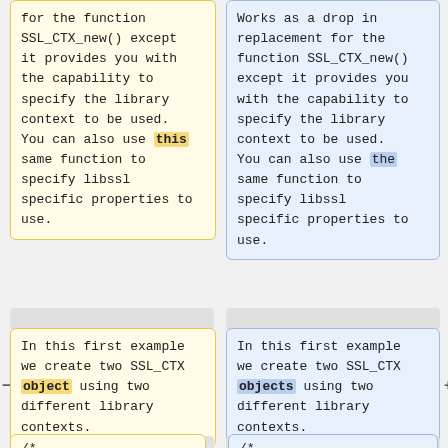for the function SSL_CTX_new() except it provides you with the capability to specify the library context to be used. You can also use this same function to specify libssl specific properties to use.
Works as a drop in replacement for the function SSL_CTX_new() except it provides you with the capability to specify the library context to be used. You can also use the same function to specify libssl specific properties to use.
In this first example we create two SSL_CTX object using two different library contexts.
In this first example we create two SSL_CTX objects using two different library contexts.
/*
/*